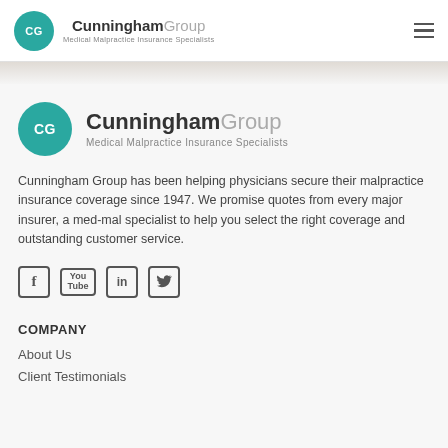Cunningham Group — Medical Malpractice Insurance Specialists
[Figure (logo): Cunningham Group logo — teal circle with CG initials, bold/light brand name, tagline 'Medical Malpractice Insurance Specialists']
Cunningham Group has been helping physicians secure their malpractice insurance coverage since 1947. We promise quotes from every major insurer, a med-mal specialist to help you select the right coverage and outstanding customer service.
[Figure (infographic): Row of social media icons: Facebook, YouTube, LinkedIn, Twitter]
COMPANY
About Us
Client Testimonials